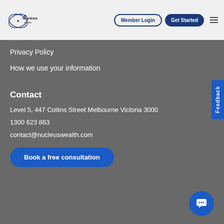Nucleus Wealth | Member Login | Get Started
Privacy Policy
How we use your information
Contact
Level 5, 447 Collins Street Melbourne Victoria 3000
1300 623 863
contact@nucleuswealth.com
Book a free consultation